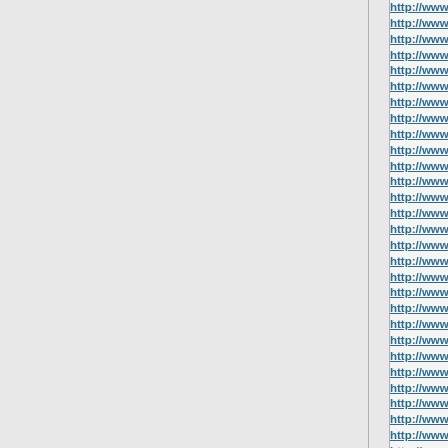http://www.yeezy350.ca/ Yeezy...
http://www.stevemaddens.us/ S...
http://www.ferragamoshoessto...
http://www.christianlouboutins....
http://www.balenciagashoesbag...
http://www.supremetshirt.org.uk...
http://www.yeezy-mafia.us/ Yee...
http://www.skechersboots.us.or...
http://www.asicsgelkayano.us/ ...
http://www.calvinklein.us.org/ C...
http://www.goldengoosesupers...
http://www.cartiers.us/ Cartier L...
http://www.hollisterjeans.us/ Ho...
http://www.adidass.us.org/ Adid...
http://www.cartier-ring.us/ Carti...
http://www.steve-madden.us.co...
http://www.coach-handbags.us....
http://www.longchamp-outlet.us...
http://www.truereligionjeansout...
http://www.pandoracanadarings...
http://www.karenmillens.us/ Ka...
http://www.ralphlaurenfactory.u...
http://www.fendis.us/ Fendi Shi...
http://www.columbiajacket.us/ C...
http://www.aldo.us.org/ Aldo Bo...
http://www.lacostecanada.ca/ L...
http://www.supremeclothingout...
http://www.fitflopshoes.us.com/...
http://www.mcmbags.ca/ MCM...
http://www.fjallravenkanken.us....
http://www.supremes.us/ Supre...
http://www.bapeclothing.org.uk...
http://www.bapes.us/ Bape
http://www.fredperrypolo.us/ Pe...
http://www.fitflopsandals.us.or...
http://www.curry-7.us/ Curry 7 S...
http://www.hydroflask-canada.c...
http://www.pradas.us/ Prada...